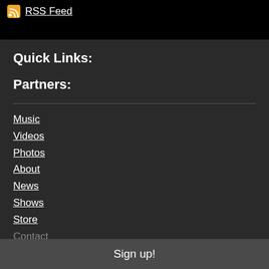RSS Feed
Quick Links:
Partners:
Music
Videos
Photos
About
News
Shows
Store
Contact
Sign up!